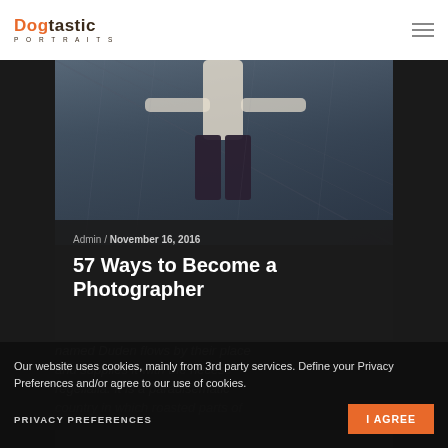Dogtastic Portraits
[Figure (photo): Dark artistic photo of a person in motion against a chain/rain backdrop]
Admin / November 16, 2016
57 Ways to Become a Photographer
Our website uses cookies, mainly from 3rd party services. Define your Privacy Preferences and/or agree to our use of cookies.
PRIVACY PREFERENCES
I AGREE
named Duden flows by their place and supplies it with the neces regelialia. It is a paradisematic country in which roasted parts of